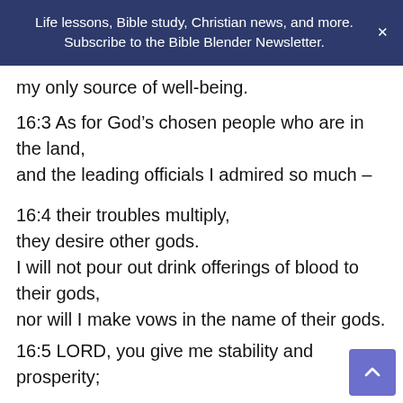Life lessons, Bible study, Christian news, and more. Subscribe to the Bible Blender Newsletter.
my only source of well-being.
16:3 As for God’s chosen people who are in the land,
and the leading officials I admired so much –
16:4 their troubles multiply,
they desire other gods.
I will not pour out drink offerings of blood to their gods,
nor will I make vows in the name of their gods.
16:5 LORD, you give me stability and prosperity;